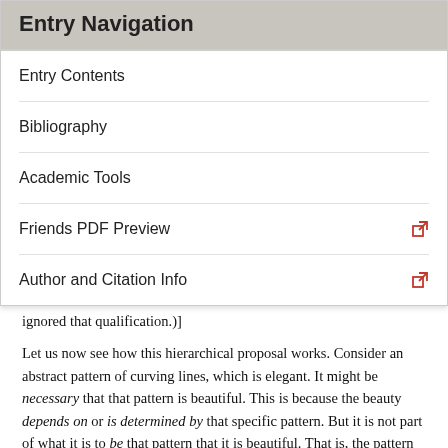Entry Navigation
Entry Contents
Bibliography
Academic Tools
Friends PDF Preview
Author and Citation Info
ignored that qualification.)]
Let us now see how this hierarchical proposal works. Consider an abstract pattern of curving lines, which is elegant. It might be necessary that that pattern is beautiful. This is because the beauty depends on or is determined by that specific pattern. But it is not part of what it is to be that pattern that it is beautiful. That is, the pattern is necessarily beautiful but it is not essentially beautiful. (On the general distinction between necessity and essence, see Fine 1994.) Furthermore, we can think of